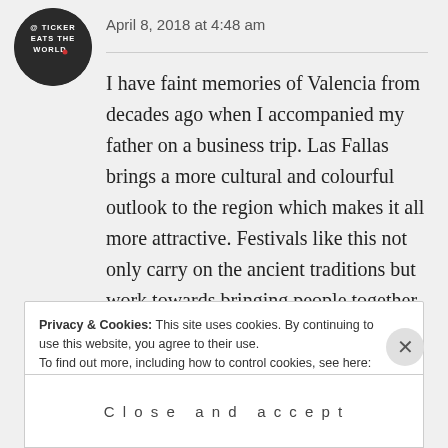[Figure (logo): Circular avatar/logo for 'Ticker Eats The World' blog, dark background with white text]
April 8, 2018 at 4:48 am
I have faint memories of Valencia from decades ago when I accompanied my father on a business trip. Las Fallas brings a more cultural and colourful outlook to the region which makes it all more attractive. Festivals like this not only carry on the ancient traditions but work towards bringing people together and that is always great.
Privacy & Cookies: This site uses cookies. By continuing to use this website, you agree to their use.
To find out more, including how to control cookies, see here: Cookie Policy
Close and accept